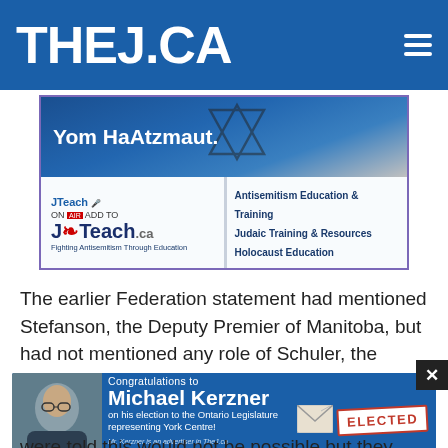THEJ.CA
[Figure (advertisement): JTeach.ca advertisement: 'Yom HaAtzmaut.' with Star of David graphic. JTeach branding. 'Fighting Antisemitism Through Education'. Services listed: Antisemitism Education & Training, Judaic Training & Resources, Holocaust Education.]
The earlier Federation statement had mentioned Stefanson, the Deputy Premier of Manitoba, but had not mentioned any role of Schuler, the Minister for Infrastructure.
[Figure (advertisement): Congratulations to Michael Kerzner on his election to the Ontario Legislature representing York Centre! Mr. Kerzner is an advertiser in TheJ.ca and we will continue to follow his work for the community. ELECTED stamp. Photo of Michael Kerzner.]
were told this would not be possible but they